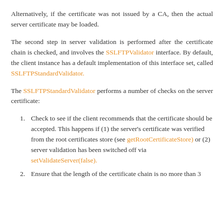Alternatively, if the certificate was not issued by a CA, then the actual server certificate may be loaded.
The second step in server validation is performed after the certificate chain is checked, and involves the SSLFTPValidator interface. By default, the client instance has a default implementation of this interface set, called SSLFTPStandardValidator.
The SSLFTPStandardValidator performs a number of checks on the server certificate:
1. Check to see if the client recommends that the certificate should be accepted. This happens if (1) the server's certificate was verified from the root certificates store (see getRootCertificateStore) or (2) server validation has been switched off via setValidateServer(false).
2. Ensure that the length of the certificate chain is no more than 3